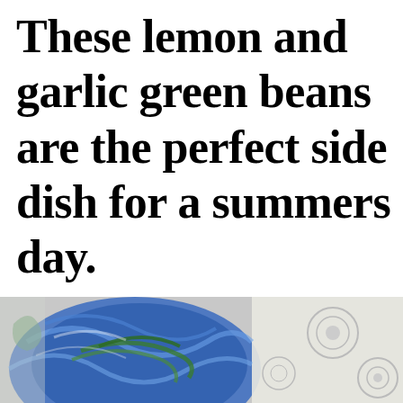These lemon and garlic green beans are the perfect side dish for a summers day.
[Figure (photo): Photo of a dish with green beans on a decorative blue and white patterned plate or fabric, partially visible at the bottom of the page.]